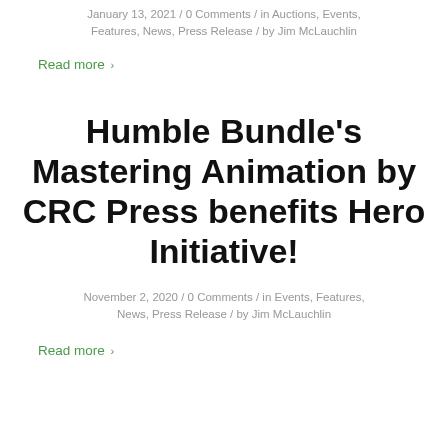January 13, 2021 / 0 Comments / in Auctions, Events, Features, News, Press Release / by Jim McLauchlin
Read more ›
Humble Bundle's Mastering Animation by CRC Press benefits Hero Initiative!
November 2, 2020 / 0 Comments / in Events, Features, News, Press Release / by Jim McLauchlin
Read more ›